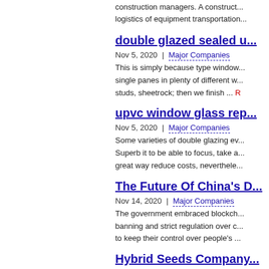construction managers. A construct... logistics of equipment transportation...
double glazed sealed u...
Nov 5, 2020 | Major Companies
This is simply because type window... single panes in plenty of different w... studs, sheetrock; then we finish ... R
upvc window glass rep...
Nov 5, 2020 | Major Companies
Some varieties of double glazing ev... Superb it to be able to focus, take a... great way reduce costs, neverthele...
The Future Of China's D...
Nov 14, 2020 | Major Companies
The government embraced blockch... banning and strict regulation over c... to keep their control over people's ...
Hybrid Seeds Company...